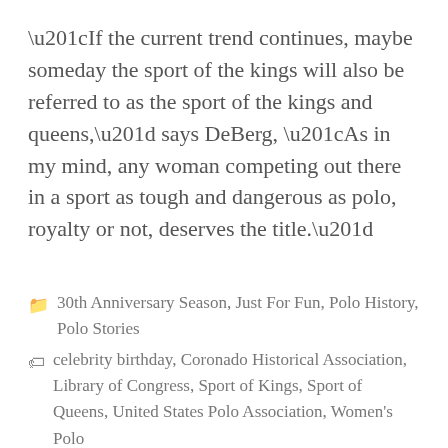“If the current trend continues, maybe someday the sport of the kings will also be referred to as the sport of the kings and queens,” says DeBerg, “As in my mind, any woman competing out there in a sport as tough and dangerous as polo, royalty or not, deserves the title.”
30th Anniversary Season, Just For Fun, Polo History, Polo Stories
celebrity birthday, Coronado Historical Association, Library of Congress, Sport of Kings, Sport of Queens, United States Polo Association, Women's Polo
Leave a comment